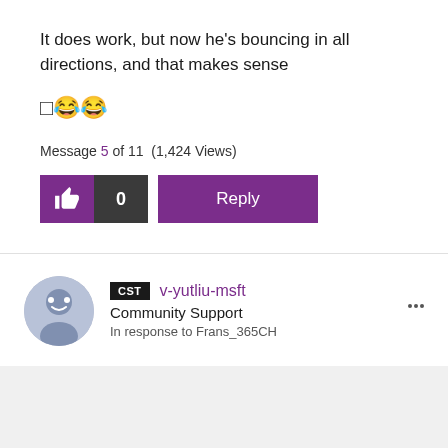It does work, but now he's bouncing in all directions, and that makes sense
🔲😂😂
Message 5 of 11 (1,424 Views)
[Figure (screenshot): Like button (thumbs up icon) with count 0, and Reply button, both in purple/dark style]
[Figure (screenshot): User profile section with avatar, CST badge, username v-yutliu-msft, role Community Support, in response to Frans_365CH, with three-dot menu]